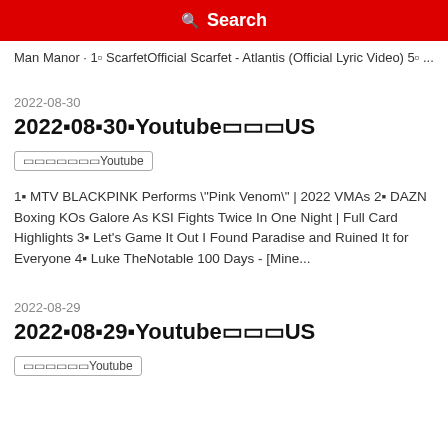Search
Man Manor · 1▪ ScarfetOfficial Scarfet - Atlantis (Official Lyric Video) 5▪ ...
2022-08-30
2022年08月30日YoutubeトレンドUS
トレンドYoutube
1▪ MTV BLACKPINK Performs "Pink Venom" | 2022 VMAs 2▪ DAZN Boxing KOs Galore As KSI Fights Twice In One Night | Full Card Highlights 3▪ Let's Game It Out I Found Paradise and Ruined It for Everyone 4▪ Luke TheNotable 100 Days - [Mine...
2022-08-29
2022年08月29日YoutubeトレンドUS
トレンドYoutube